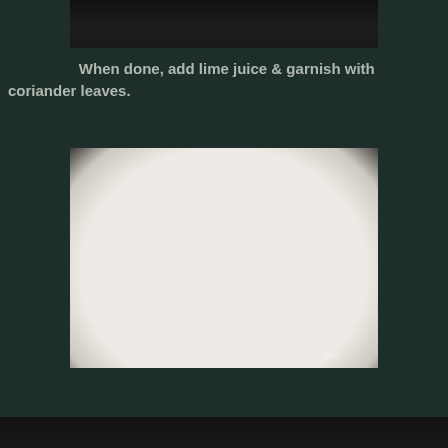[Figure (photo): Top portion of a cooking pan with dark food visible on dark background]
When done, add lime juice & garnish with coriander leaves.
[Figure (photo): A white plate with egg curry/masala dish topped with red chili, green coriander leaves and a lime wedge, placed on a dark surface with a spoon beside it. Watermark reads 'Beti...']
[Figure (photo): Bottom portion of another image of food on dark background]